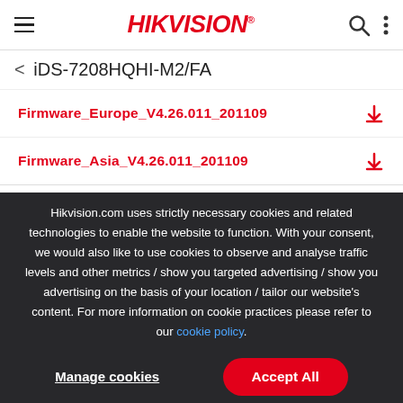HIKVISION
< iDS-7208HQHI-M2/FA
Firmware_Europe_V4.26.011_201109
Firmware_Asia_V4.26.011_201109
Hikvision.com uses strictly necessary cookies and related technologies to enable the website to function. With your consent, we would also like to use cookies to observe and analyse traffic levels and other metrics / show you targeted advertising / show you advertising on the basis of your location / tailor our website's content. For more information on cookie practices please refer to our cookie policy.
Manage cookies
Accept All